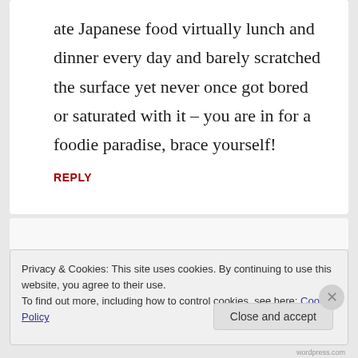ate Japanese food virtually lunch and dinner every day and barely scratched the surface yet never once got bored or saturated with it – you are in for a foodie paradise, brace yourself!
REPLY
Privacy & Cookies: This site uses cookies. By continuing to use this website, you agree to their use.
To find out more, including how to control cookies, see here: Cookie Policy
Close and accept